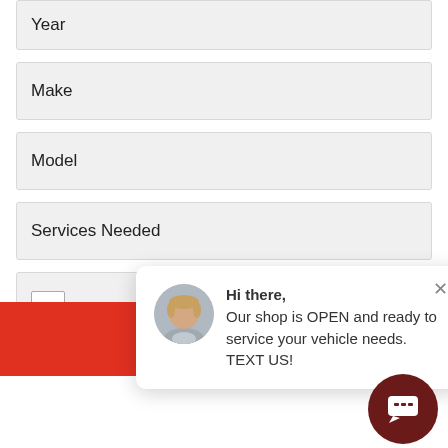Year
Make
Model
Services Needed
I'm not a robot
[Figure (screenshot): Chat popup with avatar photo of a man, close button (x), and message: Hi there, Our shop is OPEN and ready to service your vehicle needs. TEXT US!]
SUBMIT
[Figure (infographic): Dark red circular chat icon button with speech bubble icon, bottom right corner]